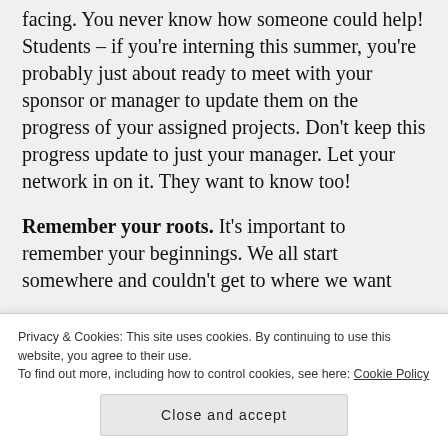facing.  You never know how someone could help!  Students – if you're interning this summer, you're probably just about ready to meet with your sponsor or manager to update them on the progress of your assigned projects.  Don't keep this progress update to just your manager.  Let your network in on it.  They want to know too!
Remember your roots.  It's important to remember your beginnings.  We all start somewhere and couldn't get to where we want
Privacy & Cookies: This site uses cookies. By continuing to use this website, you agree to their use.
To find out more, including how to control cookies, see here: Cookie Policy
Close and accept